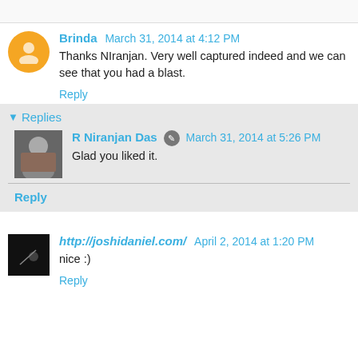Brinda   March 31, 2014 at 4:12 PM
Thanks NIranjan. Very well captured indeed and we can see that you had a blast.
Reply
Replies
R Niranjan Das   March 31, 2014 at 5:26 PM
Glad you liked it.
Reply
http://joshidaniel.com/   April 2, 2014 at 1:20 PM
nice :)
Reply